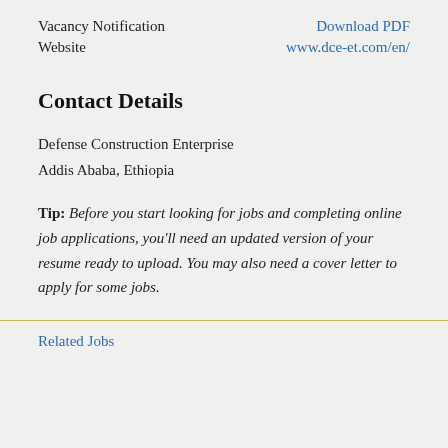Vacancy Notification    Download PDF
Website    www.dce-et.com/en/
Contact Details
Defense Construction Enterprise
Addis Ababa, Ethiopia
Tip: Before you start looking for jobs and completing online job applications, you'll need an updated version of your resume ready to upload. You may also need a cover letter to apply for some jobs.
Related Jobs